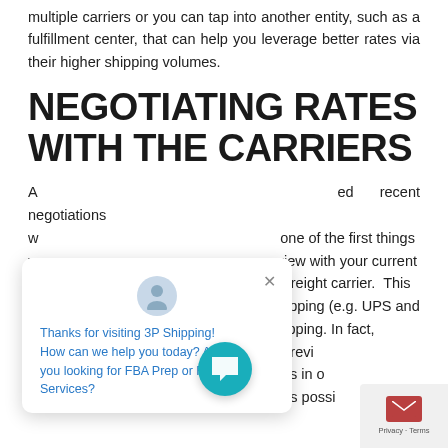multiple carriers or you can tap into another entity, such as a fulfillment center, that can help you leverage better rates via their higher shipping volumes.
NEGOTIATING RATES WITH THE CARRIERS
A ... recent negotiations w ... one of the first things y ... view with your current p ... r freight carrier. This a ... hipping (e.g. UPS and FedEx) and LTL (less than truckload) shipping. In fact, it's a good practice to institute an annual review and quote process with the ... t carriers in o ... ensure that you're receiving the best rates possi...
[Figure (screenshot): Chat popup overlay with avatar icon, close button (x), and blue text: 'Thanks for visiting 3P Shipping! How can we help you today? Are you looking for FBA Prep or FBM Services?']
[Figure (screenshot): Teal circular chat bubble button with white speech bubble icon, and bottom-right privacy/terms badge with red envelope icon.]